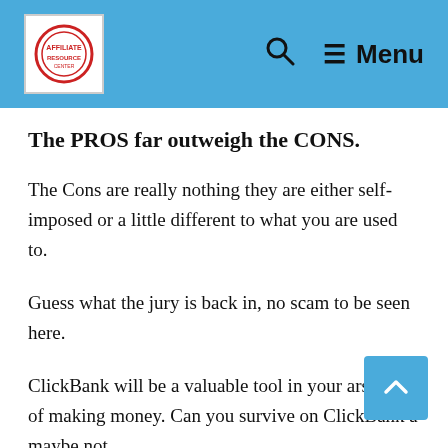☰ Menu
The PROS far outweigh the CONS.
The Cons are really nothing they are either self-imposed or a little different to what you are used to.
Guess what the jury is back in, no scam to be seen here.
ClickBank will be a valuable tool in your arsenal of making money. Can you survive on ClickBank a maybe not.